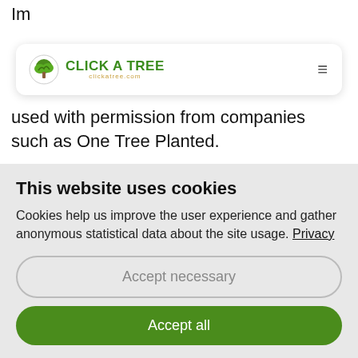Im... [partial text cut off at top]
[Figure (logo): Click A Tree logo with tree icon, green text 'CLICK A TREE' and subtitle 'clickatree.com', with hamburger menu icon on right]
used with permission from companies such as One Tree Planted.
If we use a third party's work, we always comply with current copyright laws. Should you realize any copyright infringement whatsoever, please immediately make us aware of it, and we will rectify any issues.
This website uses cookies
Cookies help us improve the user experience and gather anonymous statistical data about the site usage. Privacy
Accept necessary
Accept all